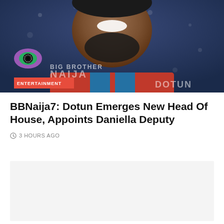[Figure (photo): Photo of a smiling man with beard wearing a Barcelona-style jersey, with Big Brother Naija logo visible, on a blue/purple background. ENTERTAINMENT badge in red at bottom left of image.]
BBNaija7: Dotun Emerges New Head Of House, Appoints Daniella Deputy
3 HOURS AGO
[Figure (other): Gray/light colored rectangular block representing embedded content or image placeholder]